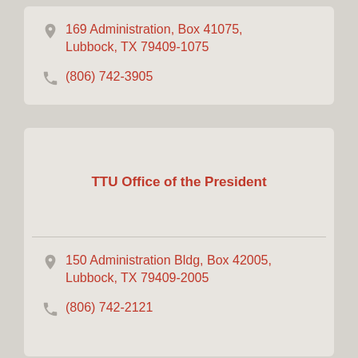169 Administration, Box 41075, Lubbock, TX 79409-1075
(806) 742-3905
TTU Office of the President
150 Administration Bldg, Box 42005, Lubbock, TX 79409-2005
(806) 742-2121